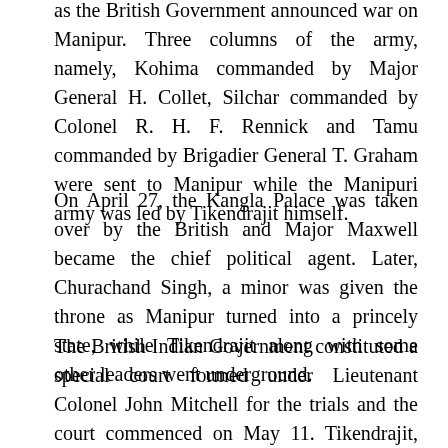as the British Government announced war on Manipur. Three columns of the army, namely, Kohima commanded by Major General H. Collet, Silchar commanded by Colonel R. H. F. Rennick and Tamu commanded by Brigadier General T. Graham were sent to Manipur while the Manipuri army was led by Tikendrajit himself.
On April 27, the Kangla Palace was taken over by the British and Major Maxwell became the chief political agent. Later, Churachand Singh, a minor was given the throne as Manipur turned into a princely state, while Tikendrajit along with some other leaders went underground.
The British Indian Government constituted a special court formed under Lieutenant Colonel John Mitchell for the trials and the court commenced on May 11. Tikendrajit, Kullachandra and Thangal General were found guilty and were sentenced to death. Some